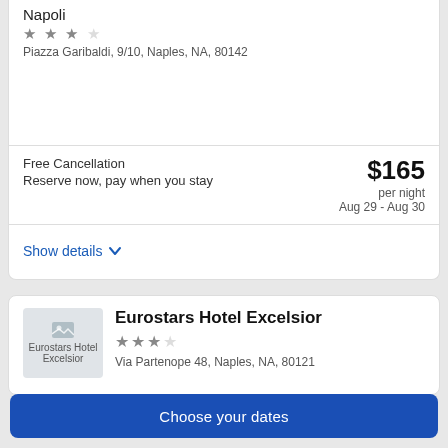Napoli
★★★
Piazza Garibaldi, 9/10, Naples, NA, 80142
Free Cancellation
Reserve now, pay when you stay
$165 per night
Aug 29 - Aug 30
Show details
[Figure (photo): Eurostars Hotel Excelsior thumbnail image placeholder]
Eurostars Hotel Excelsior
★★★
Via Partenope 48, Naples, NA, 80121
Choose your dates